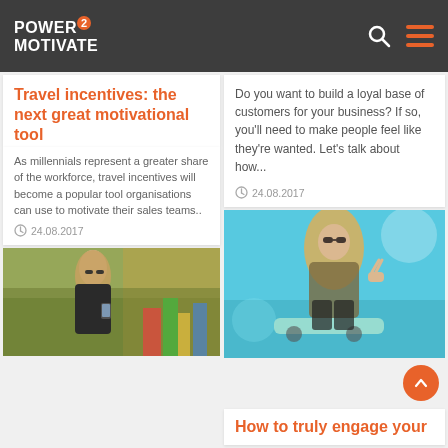POWER 2 MOTIVATE
Travel incentives: the next great motivational tool
As millennials represent a greater share of the workforce, travel incentives will become a popular tool organisations can use to motivate their sales teams..
24.08.2017
[Figure (photo): Blonde woman in black leather jacket looking at phone outdoors at a colorful market]
Do you want to build a loyal base of customers for your business? If so, you'll need to make people feel like they're wanted. Let's talk about how...
24.08.2017
[Figure (photo): Blonde woman with sunglasses sitting outdoors against a teal background]
How to truly engage your